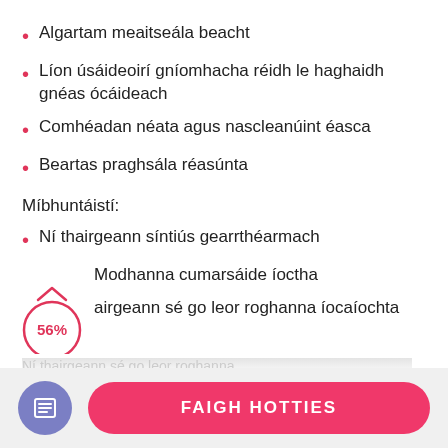Algartam meaitseála beacht
Líon úsáideoirí gníomhacha réidh le haghaidh gnéas ócáideach
Comhéadan néata agus nascleanúint éasca
Beartas praghsála réasúnta
Míbhuntáistí:
Ní thairgeann síntiús gearrthéarmach
Modhanna cumarsáide íoctha
Ní airgeann sé go leor roghanna íocaíochta
[Figure (infographic): A circle overlay with '56%' text in pink/red and a caret arrow above it, partially overlapping the list items]
FAIGH HOTTIES
[Figure (illustration): Purple circular icon button with a document/list icon in white]